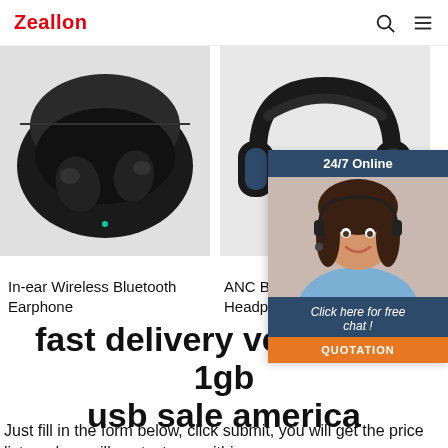Zeallon
[Figure (photo): In-ear Wireless Bluetooth Earphone product image — black TWS earbuds in charging case]
In-ear Wireless Bluetooth Earphone
[Figure (photo): ANC Bluetooth Headphone product image — black over-ear headphones]
ANC Bluetooth Headphone
[Figure (infographic): 24/7 Online chat widget with smiling customer service representative, 'Click here for free chat!' text and QUOTATION button]
fast delivery verbatim 8 1gb usb sale america
Just fill in the form below, click submit, you will get the price list, and we will contact you within